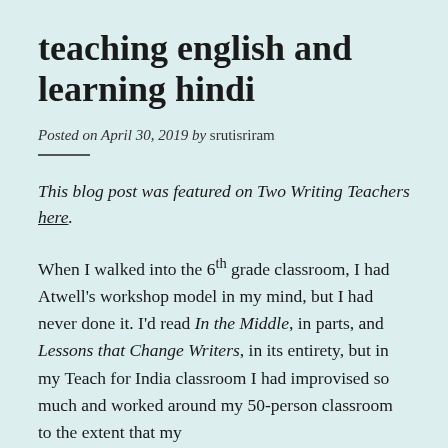teaching english and learning hindi
Posted on April 30, 2019 by srutisriram
This blog post was featured on Two Writing Teachers here.
When I walked into the 6th grade classroom, I had Atwell's workshop model in my mind, but I had never done it. I'd read In the Middle, in parts, and Lessons that Change Writers, in its entirety, but in my Teach for India classroom I had improvised so much and worked around my 50-person classroom to the extent that my